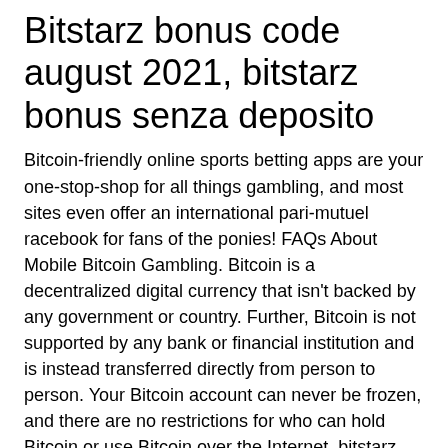Bitstarz bonus code august 2021, bitstarz bonus senza deposito
Bitcoin-friendly online sports betting apps are your one-stop-shop for all things gambling, and most sites even offer an international pari-mutuel racebook for fans of the ponies! FAQs About Mobile Bitcoin Gambling. Bitcoin is a decentralized digital currency that isn't backed by any government or country. Further, Bitcoin is not supported by any bank or financial institution and is instead transferred directly from person to person. Your Bitcoin account can never be frozen, and there are no restrictions for who can hold Bitcoin or use Bitcoin over the Internet, bitstarz casino online. This is more advantageous because you get to use your digital coins to play the